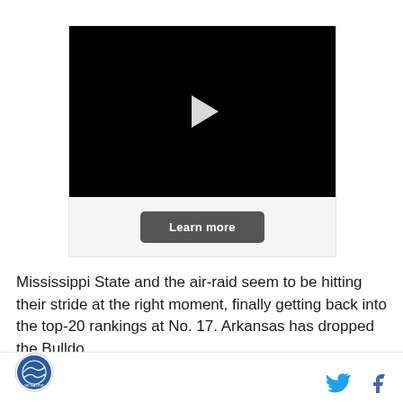[Figure (screenshot): Video player with black screen showing a white play button triangle in the center, and a 'Learn more' button below on a light grey background]
Mississippi State and the air-raid seem to be hitting their stride at the right moment, finally getting back into the top-20 rankings at No. 17. Arkansas has dropped the...
Logo and social media icons (Twitter, Facebook)